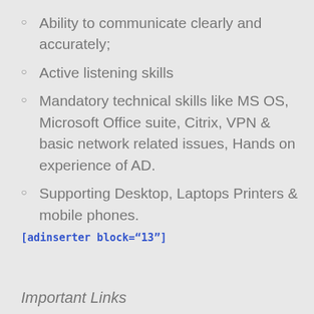Ability to communicate clearly and accurately;
Active listening skills
Mandatory technical skills like MS OS, Microsoft Office suite, Citrix, VPN & basic network related issues, Hands on experience of AD.
Supporting Desktop, Laptops Printers & mobile phones.
[adinserter block="13"]
Important Links